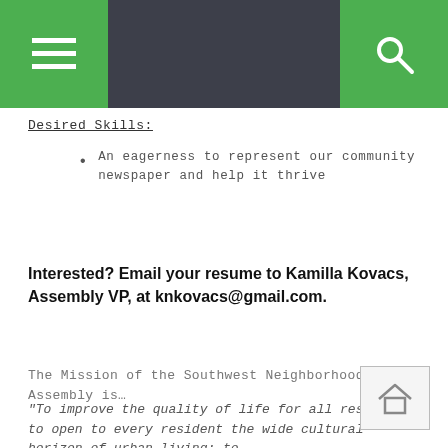Navigation bar with hamburger menu and search icon
Desired Skills:
An eagerness to represent our community newspaper and help it thrive
Interested? Email your resume to Kamilla Kovacs, Assembly VP, at knkovacs@gmail.com.
The Mission of the Southwest Neighborhood Assembly is…
"To improve the quality of life for all residents; to open to every resident the wide cultural horizon of urban living; to